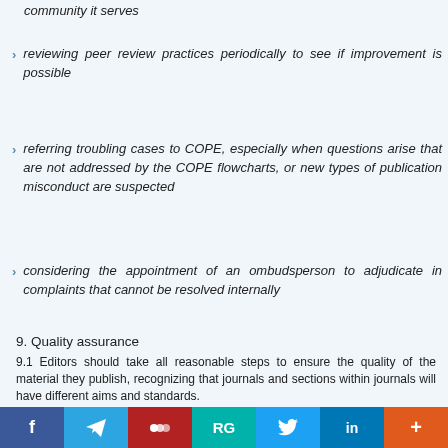community it serves
reviewing peer review practices periodically to see if improvement is possible
referring troubling cases to COPE, especially when questions arise that are not addressed by the COPE flowcharts, or new types of publication misconduct are suspected
considering the appointment of an ombudsperson to adjudicate in complaints that cannot be resolved internally
9. Quality assurance
9.1 Editors should take all reasonable steps to ensure the quality of the material they publish, recognizing that journals and sections within journals will have different aims and standards.
Best practice for editors would include:
having systems in place to detect falsified data (e.g. inappropriately